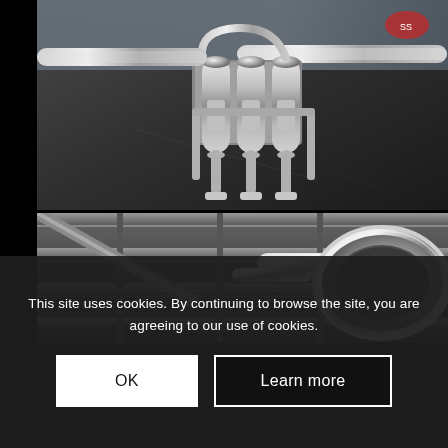[Figure (photo): Close-up photo of a trumpet's valves and mechanical parts (pistons, valve buttons, slides) resting on a dark grey surface, chrome metallic finish]
[Figure (photo): Close-up photo of the bell of a trumpet, chrome metallic, resting on a dark grey ridged surface, viewed from behind/side]
This site uses cookies. By continuing to browse the site, you are agreeing to our use of cookies.